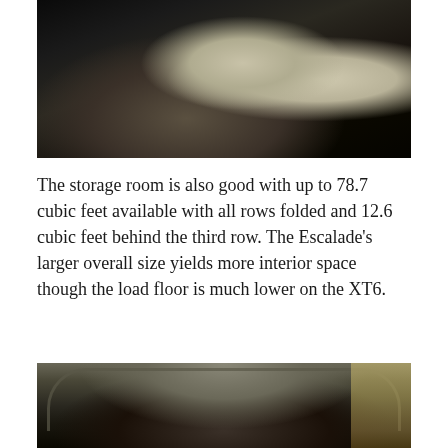[Figure (photo): Dark interior photo of a vehicle showing rear seats with light-colored leather upholstery and dark carpet flooring]
The storage room is also good with up to 78.7 cubic feet available with all rows folded and 12.6 cubic feet behind the third row. The Escalade's larger overall size yields more interior space though the load floor is much lower on the XT6.
[Figure (photo): Exterior/cargo area photo of a vehicle with the rear hatch open, showing the interior cargo space and exterior surroundings]